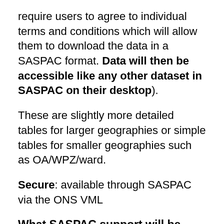require users to agree to individual terms and conditions which will allow them to download the data in a SASPAC format. Data will then be accessible like any other dataset in SASPAC on their desktop).
These are slightly more detailed tables for larger geographies or simple tables for smaller geographies such as OA/WPZ/ward.
Secure: available through SASPAC via the ONS VML
What SASPAC support will be available?
The SASPAC team are currently preparing/updating training materials to support users' access to the 2011 flow datasets. We expect to make half-day training sessions available to users and we will post dates on our website shortly. In the meantime, if you wish to get familiar with the